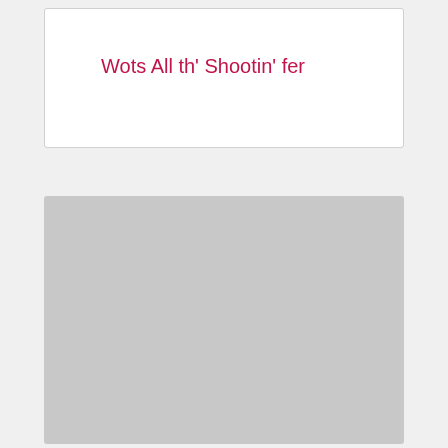Wots All th' Shootin' fer
[Figure (other): Large grey placeholder image block]